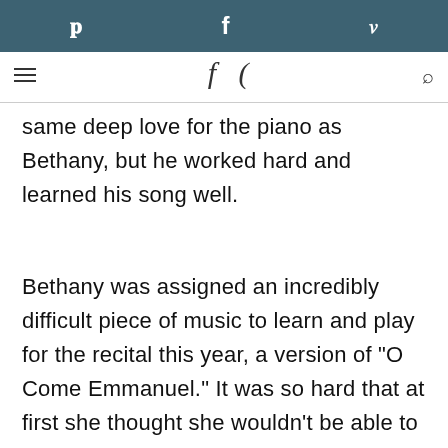Pinterest | Facebook | Twitter
[Figure (logo): Cursive/script logo with hamburger menu on left and search icon on right]
same deep love for the piano as Bethany, but he worked hard and learned his song well.
Bethany was assigned an incredibly difficult piece of music to learn and play for the recital this year, a version of "O Come Emmanuel." It was so hard that at first she thought she wouldn't be able to learn it.